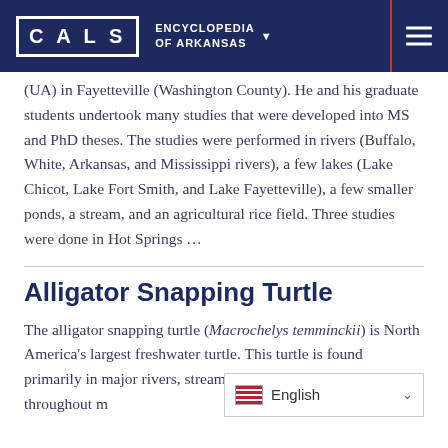CALS ENCYCLOPEDIA OF ARKANSAS
(UA) in Fayetteville (Washington County). He and his graduate students undertook many studies that were developed into MS and PhD theses. The studies were performed in rivers (Buffalo, White, Arkansas, and Mississippi rivers), a few lakes (Lake Chicot, Lake Fort Smith, and Lake Fayetteville), a few smaller ponds, a stream, and an agricultural rice field. Three studies were done in Hot Springs …
Alligator Snapping Turtle
The alligator snapping turtle (Macrochelys temminckii) is North America's largest freshwater turtle. This turtle is found primarily in major rivers, streams, swamps, and oxbow lakes throughout much of the south-central United States—all aro…